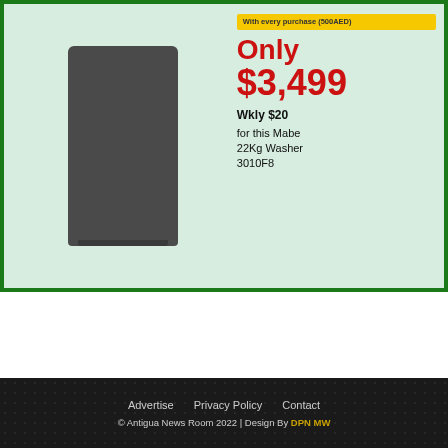[Figure (illustration): Advertisement for Mabe 22Kg Washer model 3010F8 on a green-bordered mint background. Shows a dark grey washing machine on the left with pricing info on the right: yellow badge 'With every purchase (500AED)', red text 'Only $3,499', bold text 'Wkly $20', and product description 'for this Mabe 22Kg Washer 3010F8'.]
Advertise   Privacy Policy   Contact
© Antigua News Room 2022 | Design By DPN MW